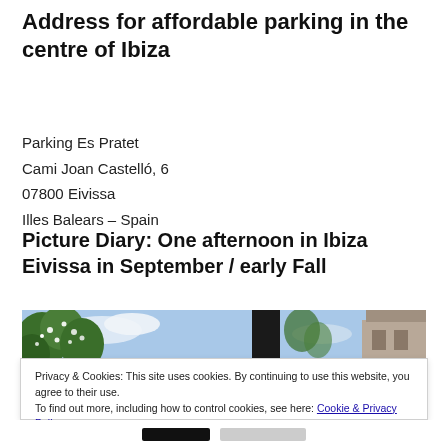Address for affordable parking in the centre of Ibiza
Parking Es Pratet
Cami Joan Castelló, 6
07800 Eivissa
Illes Balears – Spain
Picture Diary: One afternoon in Ibiza Eivissa in September / early Fall
[Figure (photo): Outdoor photo strip showing trees with white flowers against a blue sky, with a dark pillar/column on the right and a building at the far right edge.]
Privacy & Cookies: This site uses cookies. By continuing to use this website, you agree to their use.
To find out more, including how to control cookies, see here: Cookie & Privacy Policy
Close and accept